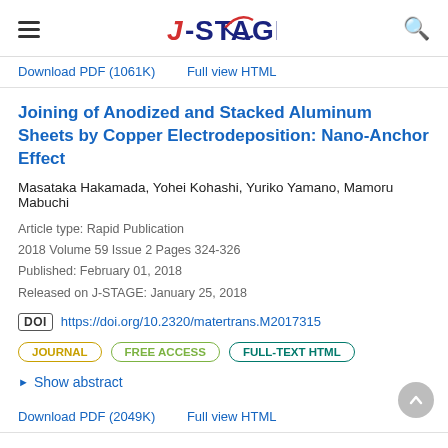J-STAGE
Download PDF (1061K)    Full view HTML
Joining of Anodized and Stacked Aluminum Sheets by Copper Electrodeposition: Nano-Anchor Effect
Masataka Hakamada, Yohei Kohashi, Yuriko Yamano, Mamoru Mabuchi
Article type: Rapid Publication
2018 Volume 59 Issue 2 Pages 324-326
Published: February 01, 2018
Released on J-STAGE: January 25, 2018
DOI https://doi.org/10.2320/matertrans.M2017315
JOURNAL  FREE ACCESS  FULL-TEXT HTML
▶ Show abstract
Download PDF (2049K)    Full view HTML